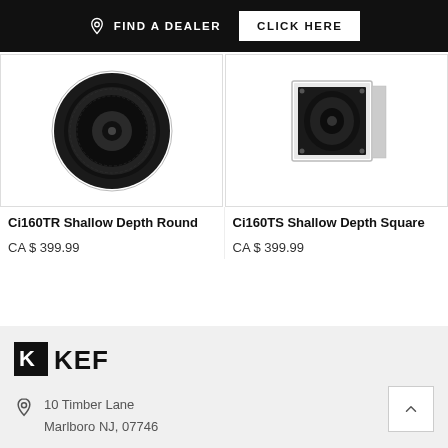FIND A DEALER | CLICK HERE
[Figure (photo): Ci160TR Shallow Depth Round in-ceiling speaker, viewed from front/top angle, black circular driver with white frame]
[Figure (photo): Ci160TS Shallow Depth Square in-ceiling speaker, viewed from side angle, black square driver with white frame]
Ci160TR Shallow Depth Round
CA $ 399.99
Ci160TS Shallow Depth Square
CA $ 399.99
[Figure (logo): KEF logo — black square with K mark and KEF text]
10 Timber Lane
Marlboro NJ, 07746